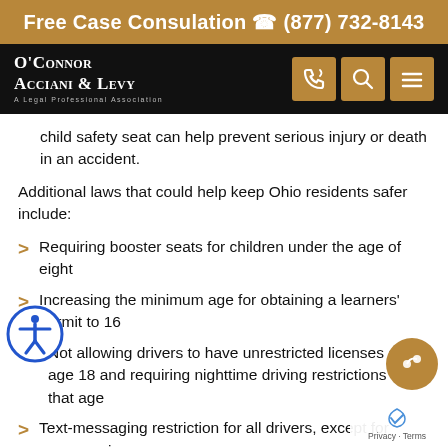Free Case Consulation ☎ (877) 732-8143
O’Connor Acciani & Levy — A Legal Professional Association
child safety seat can help prevent serious injury or death in an accident.
Additional laws that could help keep Ohio residents safer include:
Requiring booster seats for children under the age of eight
Increasing the minimum age for obtaining a learners’ permit to 16
Not allowing drivers to have unrestricted licenses at age 18 and requiring nighttime driving restrictions until that age
Text-messaging restriction for all drivers, except for emergencies